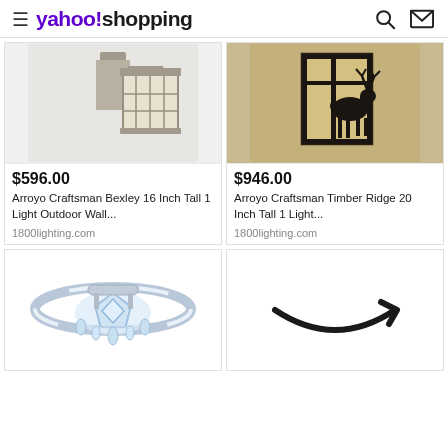yahoo!shopping
[Figure (photo): Arroyo Craftsman Bexley 16 Inch Tall outdoor wall light fixture product image]
$596.00
Arroyo Craftsman Bexley 16 Inch Tall 1 Light Outdoor Wall...
1800lighting.com
[Figure (photo): Arroyo Craftsman Timber Ridge 20 Inch Tall 1 Light outdoor lantern with deer silhouette]
$946.00
Arroyo Craftsman Timber Ridge 20 Inch Tall 1 Light...
1800lighting.com
[Figure (photo): Crystal chandelier ceiling light fixture with chrome ring]
[Figure (logo): Amazon logo (smile arrow)]